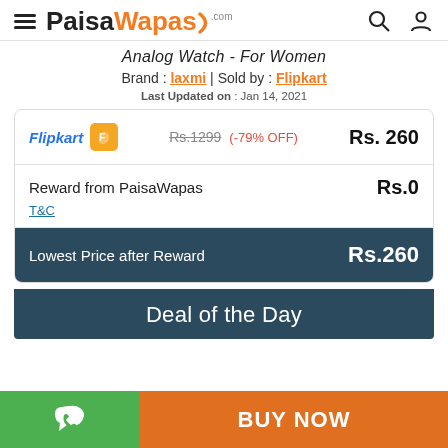PaisaWapas.com
Analog Watch - For Women
Brand : laxmi | Sold by : Flipkart
Last Updated on : Jan 14, 2021
| Store | Price Info | Price |
| --- | --- | --- |
| Flipkart | Rs.1299 (-79% OFF) | Rs. 260 |
| Reward from PaisaWapas |  | Rs.0 |
| Lowest Price after Reward |  | Rs.260 |
Deal of the Day
BUY NOW